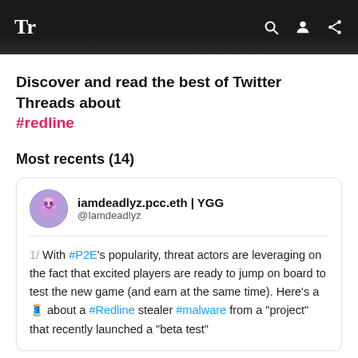Tr
Discover and read the best of Twitter Threads about #redline
Most recents (14)
iamdeadlyz.pcc.eth | YGG @Iamdeadlyz 1/ With #P2E's popularity, threat actors are leveraging on the fact that excited players are ready to jump on board to test the new game (and earn at the same time). Here's a 🧵 about a #Redline stealer #malware from a "project" that recently launched a "beta test"